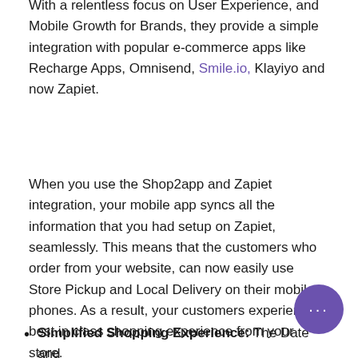With a relentless focus on User Experience, and Mobile Growth for Brands, they provide a simple integration with popular e-commerce apps like Recharge Apps, Omnisend, Smile.io, Klayiyo and now Zapiet.
When you use the Shop2app and Zapiet integration, your mobile app syncs all the information that you had setup on Zapiet, seamlessly. This means that the customers who order from your website, can now easily use Store Pickup and Local Delivery on their mobile phones. As a result, your customers experience best in class shopping experience from your store.
Simplified Shopping Experience: The Date and